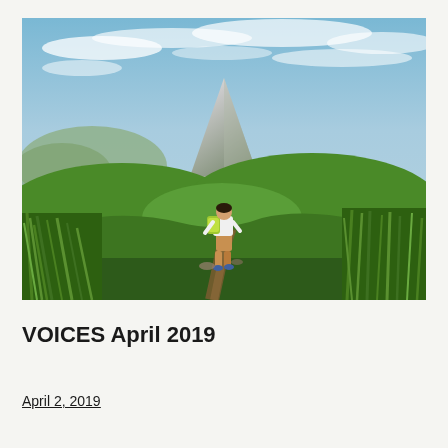[Figure (photo): A hiker with a green backpack stands on a hilltop trail facing a large volcano (Mayon Volcano, Philippines) in the distance. Lush green hills and tall grass surround the path. The sky is partly cloudy with blue tones.]
VOICES April 2019
April 2, 2019